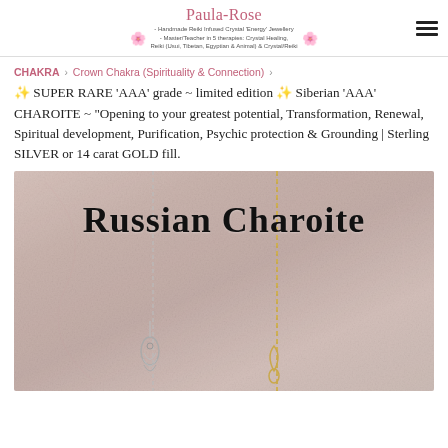Paula-Rose – Handmade Reiki Infused Crystal 'Energy' Jewellery – Master/Teacher in 5 therapies: Crystal Healing, Reiki (Usui, Tibetan, Egyptian & Animal) & Crystal/Reiki
CHAKRA › Crown Chakra (Spirituality & Connection) ›
✨ SUPER RARE 'AAA' grade ~ limited edition ✨ Siberian 'AAA' CHAROITE ~ "Opening to your greatest potential, Transformation, Renewal, Spiritual development, Purification, Psychic protection & Grounding | Sterling SILVER or 14 carat GOLD fill.
[Figure (photo): Photo of Russian Charoite crystal pendants on chains — one silver chain on the left and one gold chain on the right, displayed against a pink/mauve charoite crystal background with cursive text 'Russian Charoite' overlaid in black.]